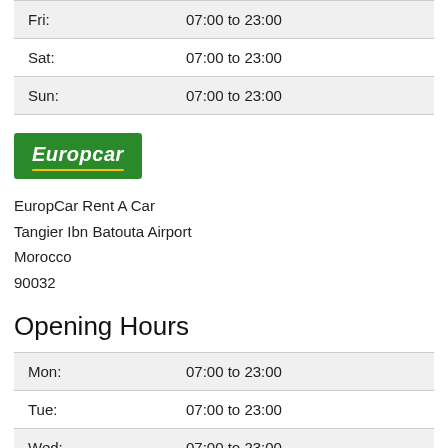| Day | Hours |
| --- | --- |
| Fri: | 07:00 to 23:00 |
| Sat: | 07:00 to 23:00 |
| Sun: | 07:00 to 23:00 |
[Figure (logo): Europcar logo — green background with white italic bold text 'Europcar' and a yellow underline]
EuropCar Rent A Car
Tangier Ibn Batouta Airport
Morocco
90032
Opening Hours
| Day | Hours |
| --- | --- |
| Mon: | 07:00 to 23:00 |
| Tue: | 07:00 to 23:00 |
| Wed: | 07:00 to 23:00 |